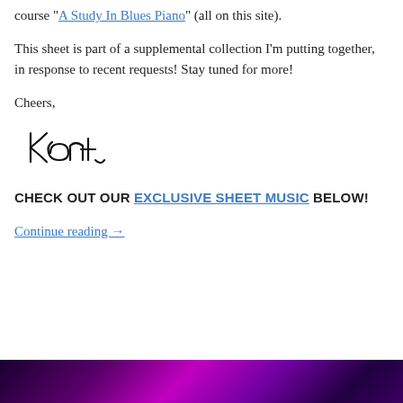course "A Study In Blues Piano" (all on this site).
This sheet is part of a supplemental collection I'm putting together, in response to recent requests! Stay tuned for more!
Cheers,
[Figure (illustration): Handwritten signature reading 'Kent']
CHECK OUT OUR EXCLUSIVE SHEET MUSIC BELOW!
Continue reading →
[Figure (photo): Colorful purple and magenta concert/piano image at the bottom of the page]